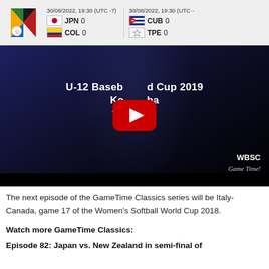30/08/2022, 19:30 (UTC -7) | JPN 0 | COL 0 | 30/08/2022, 19:30 (UTC -7) | CUB 0 | TPE 0
[Figure (screenshot): YouTube video thumbnail for U-12 Baseball World Cup 2019 Ko...ba, dated 4.AUG.2019, showing WBSC GameTime branding with red YouTube play button overlay on dark background.]
The next episode of the GameTime Classics series will be Italy-Canada, game 17 of the Women's Softball World Cup 2018.
Watch more GameTime Classics:
Episode 82: Japan vs. New Zealand in semi-final of